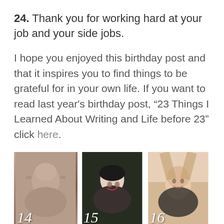24. Thank you for working hard at your job and your side jobs.
I hope you enjoyed this birthday post and that it inspires you to find things to be grateful for in your own life. If you want to read last year's birthday post, “23 Things I Learned About Writing and Life before 23” click here.
[Figure (photo): Three photos of a young woman at different ages labeled 14, 15, and 16. The first photo is sepia-toned showing her with headphones. The second is dark showing her with an open mouth expression. The third is a warm-toned selfie showing her smiling.]